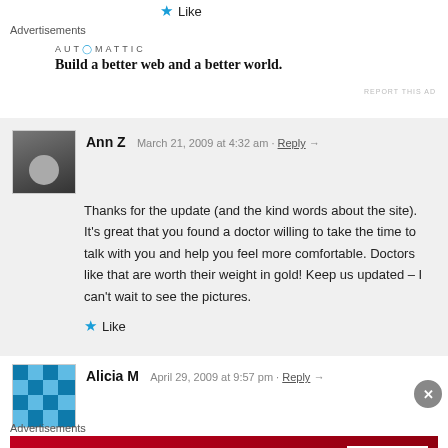★ Like
Advertisements
[Figure (logo): Automattic logo and tagline: Build a better web and a better world.]
REPORT THIS AD
Ann Z   March 21, 2009 at 4:32 am · Reply →
Thanks for the update (and the kind words about the site). It's great that you found a doctor willing to take the time to talk with you and help you feel more comfortable. Doctors like that are worth their weight in gold! Keep us updated – I can't wait to see the pictures.
★ Like
Alicia M   April 29, 2009 at 9:57 pm · Reply →
I am so glad that I found this website. I have a 20 month-old little bo
Advertisements
[Figure (screenshot): Macy's ad banner: KISS BORING LIPS GOODBYE with SHOP NOW button and Macy's logo]